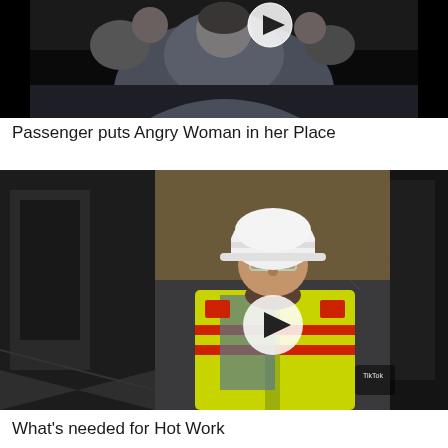[Figure (screenshot): Video thumbnail showing a person on an airplane, dark background with a play button icon overlay]
Passenger puts Angry Woman in her Place
[Figure (screenshot): Video thumbnail showing a construction worker wearing a white hard hat, safety glasses, and a yellow high-visibility vest, with a play button icon overlay. A TikTok logo is visible in the lower right.]
What's needed for Hot Work